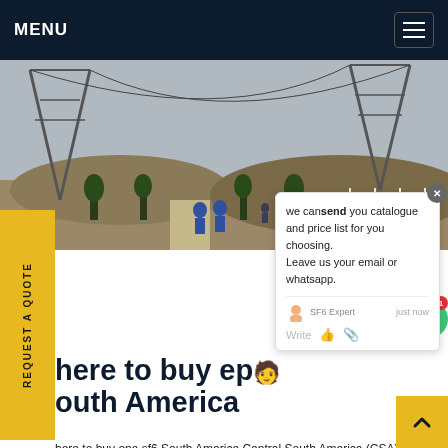MENU
[Figure (photo): Workers in blue uniforms walking along a path between trees near industrial electrical towers/pylons in an arid landscape.]
we can send you catalogue and price list for you choosing. Leave us your email or whatsapp.
where to buy epa sf6 South America
where to buy epa sf6 South America,Central South America (CSA) is anticipated to witness a high growth rate of 7.8% CAGR over the forecast period on account of increasing manufacturing activities in the region. Infrastructural growth along with rapid urbanization is also expected for the period.